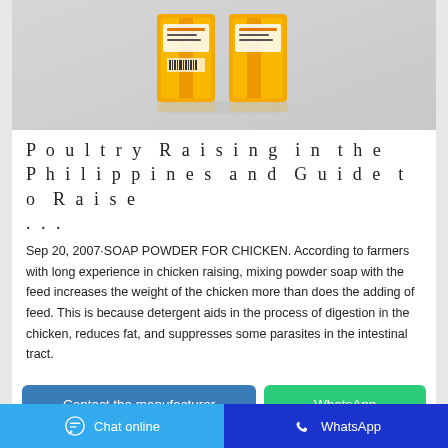[Figure (photo): Product photo showing orange soap powder bags standing upright against a light gray background]
Poultry Raising in the Philippines and Guide to Raise ...
Sep 20, 2007·SOAP POWDER FOR CHICKEN. According to farmers with long experience in chicken raising, mixing powder soap with the feed increases the weight of the chicken more than does the adding of feed. This is because detergent aids in the process of digestion in the chicken, reduces fat, and suppresses some parasites in the intestinal tract.
Contact the manufacturer
WhatsApp
Chat online   WhatsApp